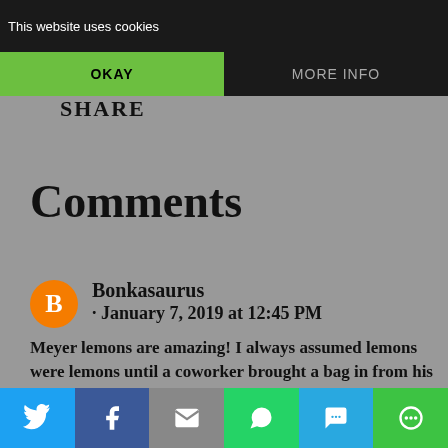This website uses cookies
OKAY
MORE INFO
SHARE
Comments
Bonkasaurus · January 7, 2019 at 12:45 PM Meyer lemons are amazing! I always assumed lemons were lemons until a coworker brought a bag in from his tree